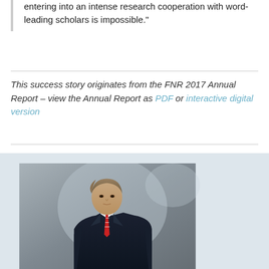entering into an intense research cooperation with word-leading scholars is impossible."
This success story originates from the FNR 2017 Annual Report – view the Annual Report as PDF or interactive digital version
[Figure (photo): A man in a dark navy suit with a red and white striped tie, with light brown hair, looking to his right, photographed against a grey background.]